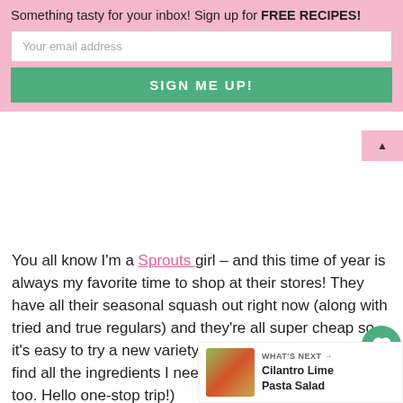Something tasty for your inbox! Sign up for FREE RECIPES!
Your email address
SIGN ME UP!
You all know I'm a Sprouts girl – and this time of year is always my favorite time to shop at their stores! They have all their seasonal squash out right now (along with tried and true regulars) and they're all super cheap so it's easy to try a new variety. (Plus love that I'm able to find all the ingredients I need for this meal in one place too. Hello one-stop trip!)
WHAT'S NEXT → Cilantro Lime Pasta Salad